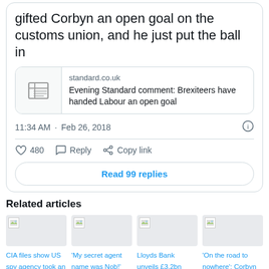gifted Corbyn an open goal on the customs union, and he just put the ball in
[Figure (screenshot): Link preview card for standard.co.uk article: Evening Standard comment: Brexiteers have handed Labour an open goal]
11:34 AM · Feb 26, 2018
480  Reply  Copy link
Read 99 replies
Related articles
CIA files show US spy agency took an interest in Jeremy Corbyn
'My secret agent name was Nob!' Andrew Neil's HILARIOUS
Lloyds Bank unveils £3.2bn payout for investors as Horta-Osorio
'On the road to nowhere': Corbyn mocks the government's